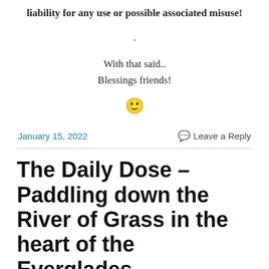liability for any use or possible associated misuse!
.
With that said..
Blessings friends!
🙂
January 15, 2022
Leave a Reply
The Daily Dose – Paddling down the River of Grass in the heart of the Everglades.